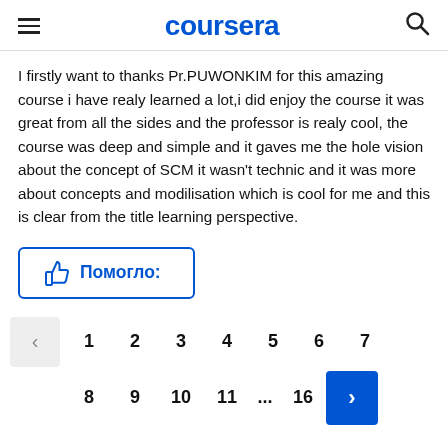coursera
I firstly want to thanks Pr.PUWONKIM for this amazing course i have realy learned a lot,i did enjoy the course it was great from all the sides and the professor is realy cool, the course was deep and simple and it gaves me the hole vision about the concept of SCM it wasn't technic and it was more about concepts and modilisation which is cool for me and this is clear from the title learning perspective.
[Figure (other): Helpful button with thumbs-up icon and Russian text 'Помогло:']
[Figure (other): Pagination controls showing pages 1-7 on first row and 8-11, ..., 16 with next arrow on second row]